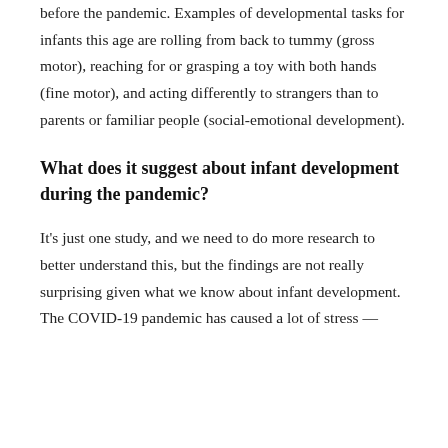before the pandemic. Examples of developmental tasks for infants this age are rolling from back to tummy (gross motor), reaching for or grasping a toy with both hands (fine motor), and acting differently to strangers than to parents or familiar people (social-emotional development).
What does it suggest about infant development during the pandemic?
It's just one study, and we need to do more research to better understand this, but the findings are not really surprising given what we know about infant development. The COVID-19 pandemic has caused a lot of stress —